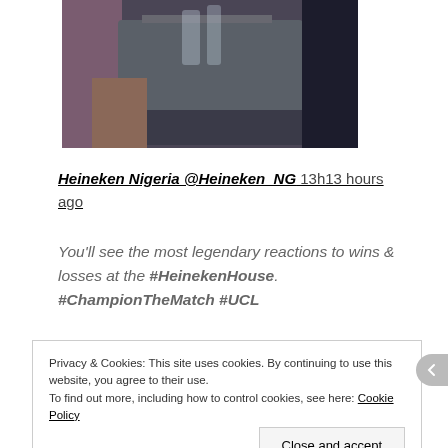[Figure (photo): Photo of two people sitting at a grey table with glasses and a laptop, viewed from the side]
Heineken Nigeria @Heineken_NG 13h13 hours ago
You'll see the most legendary reactions to wins & losses at the #HeinekenHouse. #ChampionTheMatch #UCL
Privacy & Cookies: This site uses cookies. By continuing to use this website, you agree to their use.
To find out more, including how to control cookies, see here: Cookie Policy
Close and accept